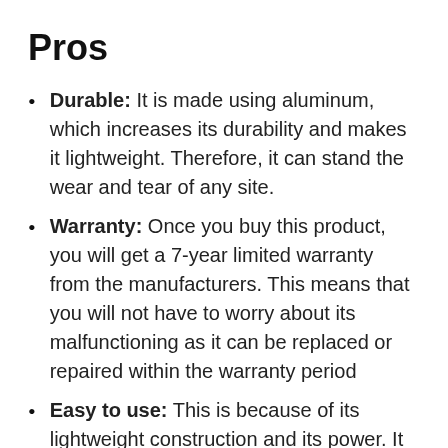Pros
Durable: It is made using aluminum, which increases its durability and makes it lightweight. Therefore, it can stand the wear and tear of any site.
Warranty: Once you buy this product, you will get a 7-year limited warranty from the manufacturers. This means that you will not have to worry about its malfunctioning as it can be replaced or repaired within the warranty period
Easy to use: This is because of its lightweight construction and its power. It can be used by anyone since you do not have to worry about its